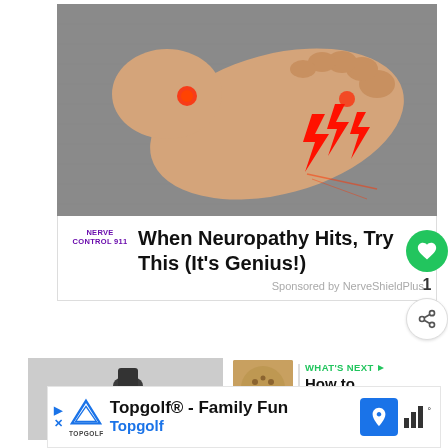[Figure (photo): Photo of a human foot on grey fabric with red lightning bolt symbols indicating pain points on toes and ankle area]
[Figure (logo): NERVE CONTROL 911 logo in purple text]
When Neuropathy Hits, Try This (It's Genius!)
Sponsored by NerveShieldPlus
1
[Figure (photo): Hand holding a cable/plug, partial view of secondary advertisement]
[Figure (photo): Small thumbnail image of golden/brown seeds or spices for What's Next section]
WHAT'S NEXT → How to Control...
Topgolf® - Family Fun Topgolf